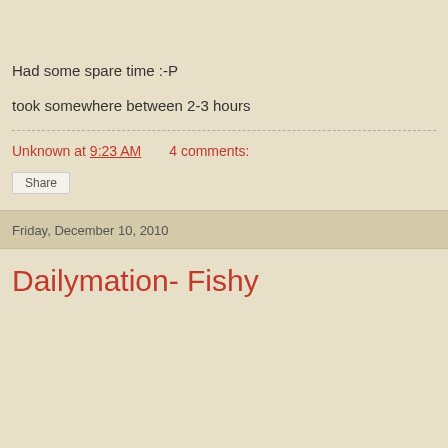Had some spare time :-P
took somewhere between 2-3 hours
Unknown at 9:23 AM    4 comments:
Share
Friday, December 10, 2010
Dailymation- Fishy